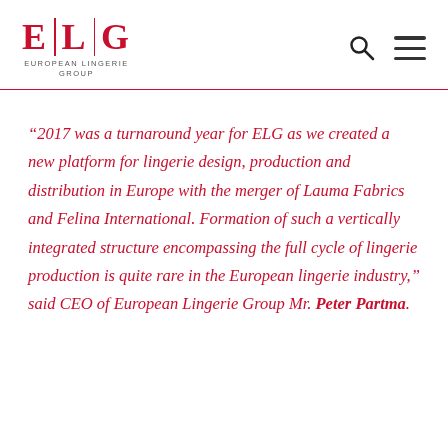[Figure (logo): ELG European Lingerie Group logo with red lettering and vertical dividers, plus search and menu icons]
“2017 was a turnaround year for ELG as we created a new platform for lingerie design, production and distribution in Europe with the merger of Lauma Fabrics and Felina International. Formation of such a vertically integrated structure encompassing the full cycle of lingerie production is quite rare in the European lingerie industry,” said CEO of European Lingerie Group Mr. Peter Partma.